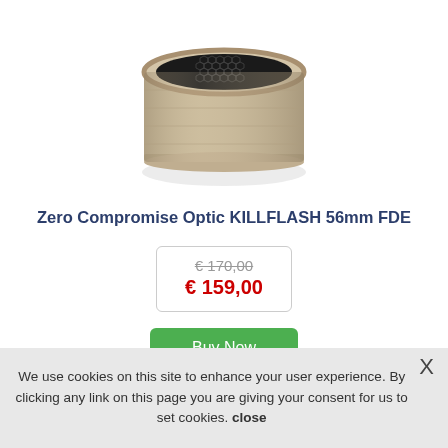[Figure (photo): Product photo of Zero Compromise Optic KILLFLASH 56mm FDE — a tan/FDE colored cylindrical kill flash lens cover with black honeycomb mesh interior, viewed from a slight angle above.]
Zero Compromise Optic KILLFLASH 56mm FDE
€ 170,00 (strikethrough) / € 159,00 (sale price in red)
Buy Now
We use cookies on this site to enhance your user experience. By clicking any link on this page you are giving your consent for us to set cookies. close